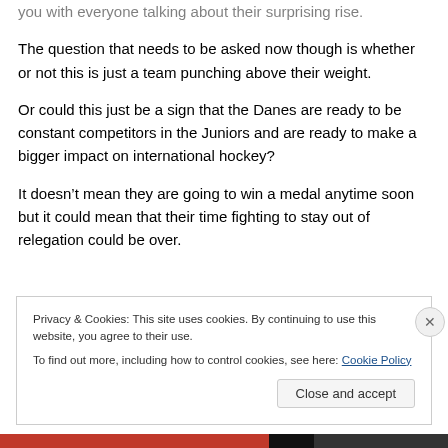you with everyone talking about their surprising rise.
The question that needs to be asked now though is whether or not this is just a team punching above their weight.
Or could this just be a sign that the Danes are ready to be constant competitors in the Juniors and are ready to make a bigger impact on international hockey?
It doesn't mean they are going to win a medal anytime soon but it could mean that their time fighting to stay out of relegation could be over.
Privacy & Cookies: This site uses cookies. By continuing to use this website, you agree to their use.
To find out more, including how to control cookies, see here: Cookie Policy
Close and accept